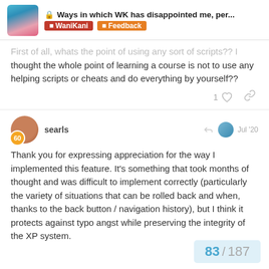Ways in which WK has disappointed me, per... | WaniKani | Feedback
First of all, whats the point of using any sort of scripts?? I thought the whole point of learning a course is not to use any helping scripts or cheats and do everything by yourself??
searls Jul '20
Thank you for expressing appreciation for the way I implemented this feature. It's something that took months of thought and was difficult to implement correctly (particularly the variety of situations that can be rolled back and when, thanks to the back button / navigation history), but I think it protects against typo angst while preserving the integrity of the XP system.
83 / 187